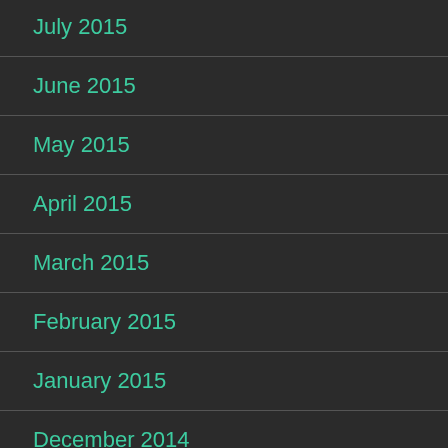July 2015
June 2015
May 2015
April 2015
March 2015
February 2015
January 2015
December 2014
November 2014